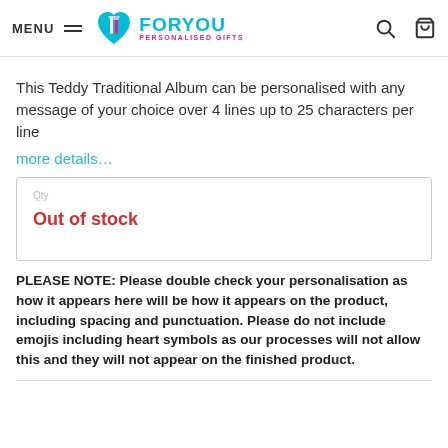MENU  FORYOU PERSONALISED GIFTS
This Teddy Traditional Album can be personalised with any message of your choice over 4 lines up to 25 characters per line
more details…
Out of stock
PLEASE NOTE: Please double check your personalisation as how it appears here will be how it appears on the product, including spacing and punctuation. Please do not include emojis including heart symbols as our processes will not allow this and they will not appear on the finished product.